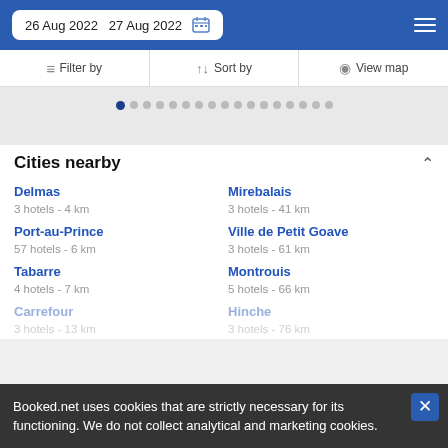26 Aug 2022   27 Aug 2022
Filter by   Sort by   View map
Cities nearby
Delmas
3 hotels - 4 km
Mirebalais
3 hotels - 41 km
Port-au-Prince
57 hotels - 6 km
Ville de Petit Goave
3 hotels - 61 km
Tabarre
4 hotels - 7 km
Montrouis
5 hotels - 66 km
Carrefour
3 hotels - 13 km
Hinche
3 hotels - 76 km
Booked.net uses cookies that are strictly necessary for its functioning. We do not collect analytical and marketing cookies.